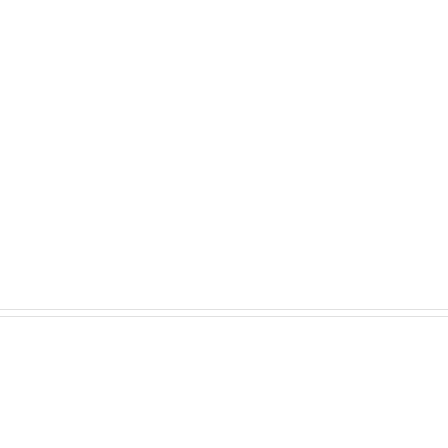[Figure (screenshot): White blank upper section of a webpage, showing empty content area above a horizontal divider line.]
Provider Search Results
[Figure (other): Circular grey scroll-to-top button with upward-pointing chevron arrow icon.]